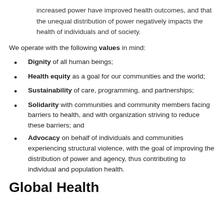increased power have improved health outcomes, and that the unequal distribution of power negatively impacts the health of individuals and of society.
We operate with the following values in mind:
Dignity of all human beings;
Health equity as a goal for our communities and the world;
Sustainability of care, programming, and partnerships;
Solidarity with communities and community members facing barriers to health, and with organization striving to reduce these barriers; and
Advocacy on behalf of individuals and communities experiencing structural violence, with the goal of improving the distribution of power and agency, thus contributing to individual and population health.
Global Health